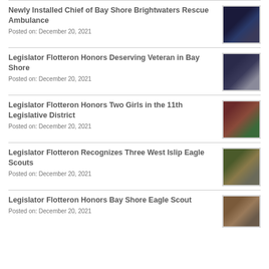Newly Installed Chief of Bay Shore Brightwaters Rescue Ambulance
Posted on: December 20, 2021
[Figure (photo): Two people in dark uniforms standing together]
Legislator Flotteron Honors Deserving Veteran in Bay Shore
Posted on: December 20, 2021
[Figure (photo): Group of people standing indoors]
Legislator Flotteron Honors Two Girls in the 11th Legislative District
Posted on: December 20, 2021
[Figure (photo): Group photo with girls in red and green outfits]
Legislator Flotteron Recognizes Three West Islip Eagle Scouts
Posted on: December 20, 2021
[Figure (photo): Group of scouts and adults outdoors]
Legislator Flotteron Honors Bay Shore Eagle Scout
Posted on: December 20, 2021
[Figure (photo): People standing together indoors]